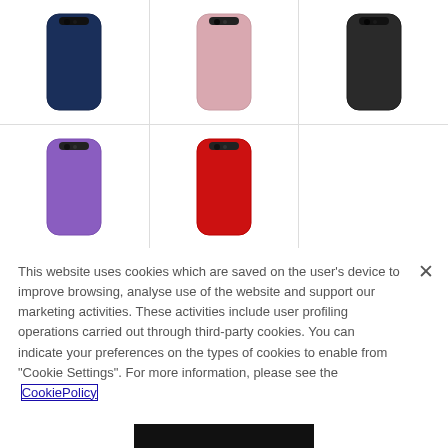[Figure (photo): Grid of 5 phone cases: top row has navy blue, light pink, and black iPhone cases; bottom row has purple and red iPhone cases]
This website uses cookies which are saved on the user's device to improve browsing, analyse use of the website and support our marketing activities. These activities include user profiling operations carried out through third-party cookies. You can indicate your preferences on the types of cookies to enable from "Cookie Settings". For more information, please see the CookiePolicy